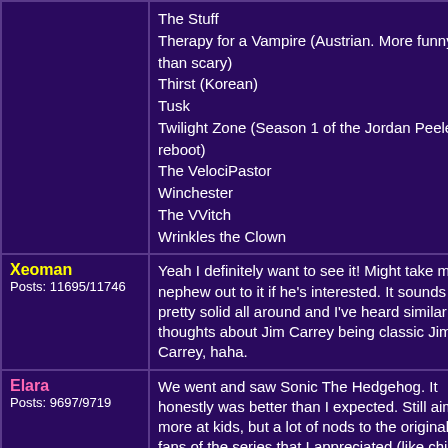| User | Post |
| --- | --- |
|  | The Stuff
Therapy for a Vampire (Austrian. More funny than scary)
Thirst (Korean)
Tusk
Twilight Zone (Season 1 of the Jordan Peele reboot)
The VelociPastor
Winchester
The VVitch
Wrinkles the Clown |
| Xeoman
Posts: 11695/11746 | Yeah I definitely want to see it! Might take my nephew out to it if he's interested. It sounds pretty solid all around and I've heard similar thoughts about Jim Carrey being classic Jim Carrey, haha. |
| Elara
Posts: 9697/9719 | We went and saw Sonic The Hedgehog. It honestly was better than I expected. Still aimed more at kids, but a lot of nods to the original fans of the series that I appreciated (like chili dogs). Jim Carrey was almost 90s level again and it was both a bit freaky and amazing at the same time... I definitely think he did well in the roll. I just hope the promised sequel will be as good if not better. |
| Lord Alexandor
Posts: 404/417 | I also went to see Rise of Skywalker. I really enjoyed it and appreciated the way the 9-episode saga was wrapped up. Definitely a rollercoaster ride and the visuals and surround audio really added to the climax. Definitely see |